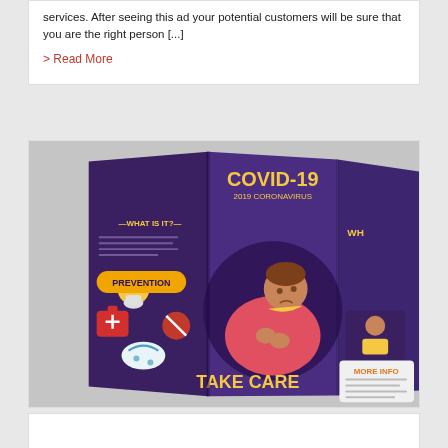services. After seeing this ad your potential customers will be sure that you are the right person [...]
> Read More
[Figure (photo): A COVID-19 brochure mockup displayed as a tri-fold pamphlet. The brochure has a dark purple background with yellow and white text. It shows 'COVID-19 2019 CORONAVIRUS', 'WHAT IS IT?', 'PREVENTION', 'TAKE CARE', and 'MORE INFO' sections. An illustration of a sick person wrapped in a blanket is prominently featured in the center fold.]
[Figure (photo): Partial view of another brochure or card at the bottom of the page, white background.]